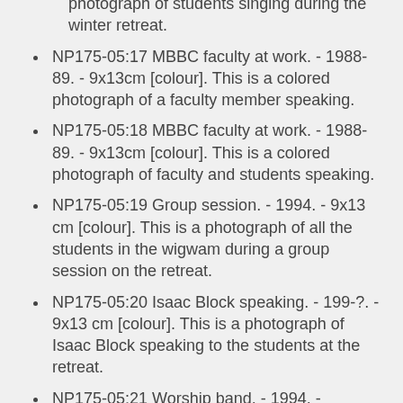photograph of students singing during the winter retreat.
NP175-05:17 MBBC faculty at work. - 1988-89. - 9x13cm [colour]. This is a colored photograph of a faculty member speaking.
NP175-05:18 MBBC faculty at work. - 1988-89. - 9x13cm [colour]. This is a colored photograph of faculty and students speaking.
NP175-05:19 Group session. - 1994. - 9x13 cm [colour]. This is a photograph of all the students in the wigwam during a group session on the retreat.
NP175-05:20 Isaac Block speaking. - 199-?. - 9x13 cm [colour]. This is a photograph of Isaac Block speaking to the students at the retreat.
NP175-05:21 Worship band. - 1994. - 10x15cm [colour]. This is a photograph of a Sam Dick, Charlene and Mitch